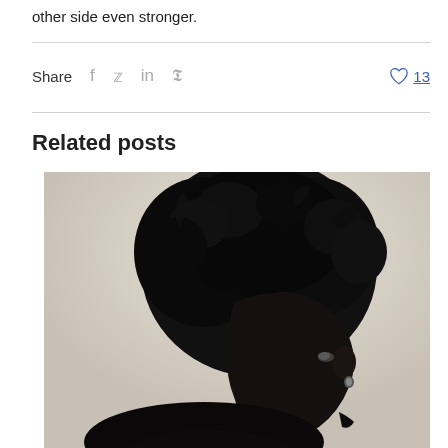other side even stronger.
Share  f  y  in  p  ♡ 13
Related posts
[Figure (photo): Black and white side profile portrait of a person with a large natural afro hairstyle, facing right, with earring visible. High contrast monochrome image on light background.]